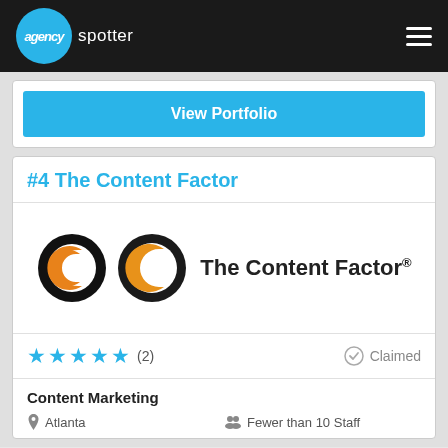agency spotter
View Portfolio
#4 The Content Factor
[Figure (logo): The Content Factor logo: black ring with orange C, followed by text 'The Content Factor®']
★★★★★ (2)   Claimed
Content Marketing
Atlanta   Fewer than 10 Staff